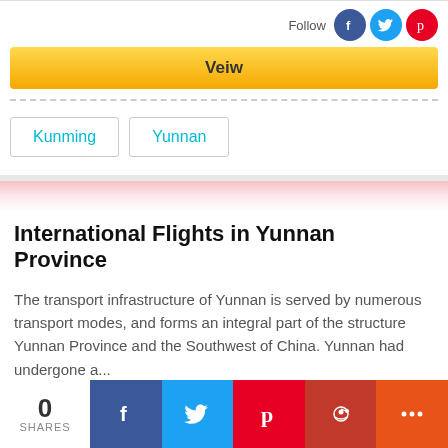Veiw
Kunming
Yunnan
International Flights in Yunnan Province
The transport infrastructure of Yunnan is served by numerous transport modes, and forms an integral part of the structure Yunnan Province and the Southwest of China. Yunnan had undergone a...
Arrival and Departure
0 SHARES